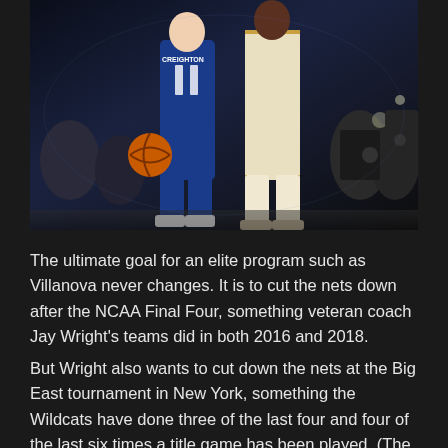[Figure (photo): Basketball game photo showing a Creighton player wearing jersey number 11 in blue uniform dribbling against a defender in white and gold uniform, with photographers and fans visible in the background in a dark arena.]
The ultimate goal for an elite program such as Villanova never changes. It is to cut the nets down after the NCAA Final Four, something veteran coach Jay Wright's teams did in both 2016 and 2018.
But Wright also wants to cut down the nets at the Big East tournament in New York, something the Wildcats have done three of the last four and four of the last six times a title game has been played. (The 2020 event was never finished because of the COVID pandemic.)